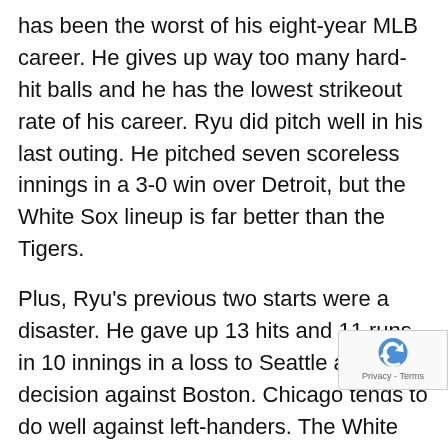has been the worst of his eight-year MLB career. He gives up way too many hard-hit balls and he has the lowest strikeout rate of his career. Ryu did pitch well in his last outing. He pitched seven scoreless innings in a 3-0 win over Detroit, but the White Sox lineup is far better than the Tigers.
Plus, Ryu's previous two starts were a disaster. He gave up 13 hits and 11 runs in 10 innings in a loss to Seattle and a no-decision against Boston. Chicago tends to do well against left-handers. The White Sox were tearing it up against lefties but have cooled off some. Chicago is 21-14 against left-handed starting pitchers this season and they rank seventh in OPS when facing a southpaw.
With Rodon on the mound, the Under is always ... The first three games of this series have seen th... each in all of them. In fact, the Under has hit in the last si...